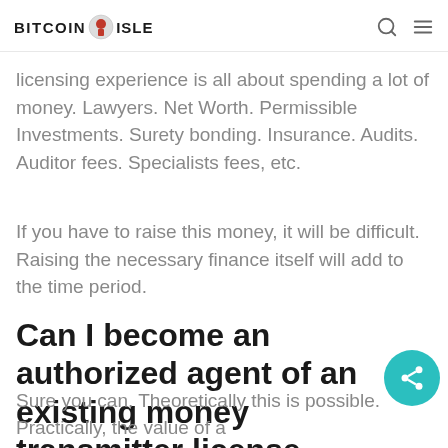BITCOIN ISLE
licensing experience is all about spending a lot of money. Lawyers. Net Worth. Permissible Investments. Surety bonding. Insurance. Audits. Auditor fees. Specialists fees, etc.
If you have to raise this money, it will be difficult. Raising the necessary finance itself will add to the time period.
Can I become an authorized agent of an existing money transmitter license holder?
Sure you can. Theoretically this is possible. Practically, the value of a